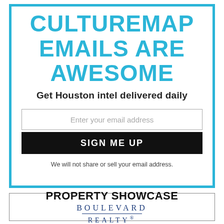CULTUREMAP EMAILS ARE AWESOME
Get Houston intel delivered daily
Enter your email address
SIGN ME UP
We will not share or sell your email address.
PROPERTY SHOWCASE
BOULEVARD REALTY®